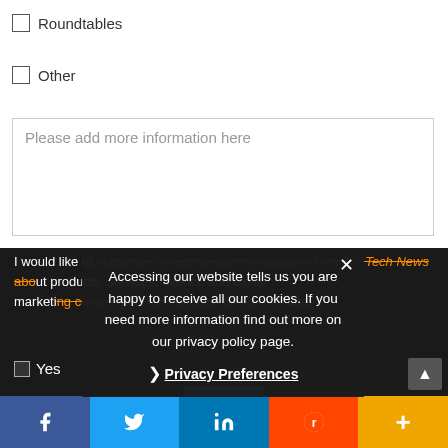Roundtables
Other
Please add more information here
I would like to subscribe to receive communications from IoT Tech News about products, services, events, and digital marketing content and can unsubscribe at any time.
Accessing our website tells us you are happy to receive all our cookies. If you need more information find out more on our privacy policy page.
Privacy Preferences
Yes
Facebook Twitter LinkedIn Reddit More